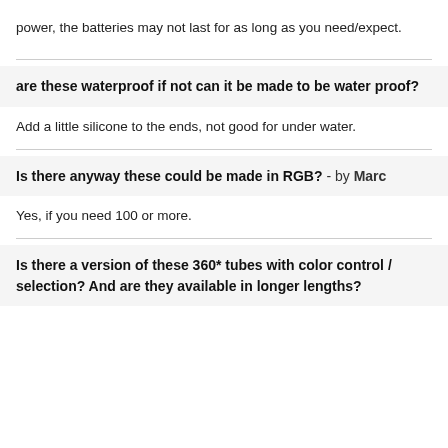power, the batteries may not last for as long as you need/expect.
are these waterproof if not can it be made to be water proof?
Add a little silicone to the ends, not good for under water.
Is there anyway these could be made in RGB? - by Marc
Yes, if you need 100 or more.
Is there a version of these 360* tubes with color control / selection? And are they available in longer lengths?